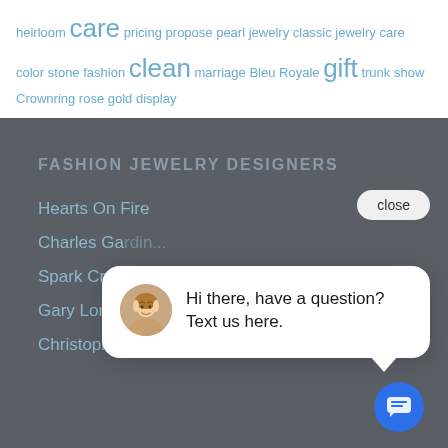heirloom care pricing propose pearl jewelry classic jewelry care color stone fashion clean marriage Bleu Royale gift trunk show Crownring rose gold display
FASHION JEWELRY DESIGNERS
Hearts On Fire
Charles Ga...
Spark Crea...
Gary Long...
Christopher Designs
[Figure (screenshot): Chat popup widget with a close button, a woman's avatar photo, and the message 'Hi there, have a question? Text us here.' with a blue chat button below.]